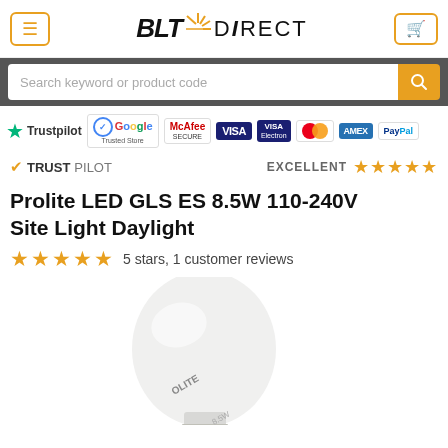[Figure (logo): BLT Direct logo with sunburst icon]
Search keyword or product code
[Figure (infographic): Trust badges row: Trustpilot, Google Trusted Store, McAfee Secure, VISA, Visa Electron, Mastercard, AMEX, PayPal]
✔ TRUSTPILOT    EXCELLENT ★★★★★
Prolite LED GLS ES 8.5W 110-240V Site Light Daylight
★★★★★ 5 stars, 1 customer reviews
[Figure (photo): Photo of a Prolite LED GLS bulb, frosted white globe with silver screw base]